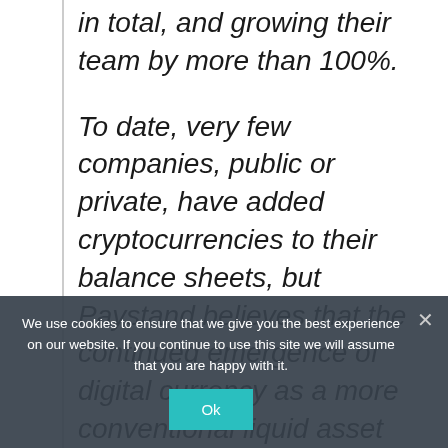in total, and growing their team by more than 100%.
To date, very few companies, public or private, have added cryptocurrencies to their balance sheets, but Paystand believes that the continued emergence of digital currency as a more conventional liquid asset and long-term store of value, coupled with the maturation of the blockchain, will change the corporate level narrative about...
We use cookies to ensure that we give you the best experience on our website. If you continue to use this site we will assume that you are happy with it.